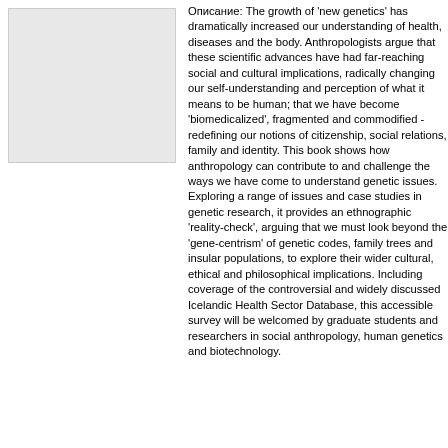[Figure (other): Placeholder image (book cover or thumbnail), light grey rectangle]
Описание: The growth of 'new genetics' has dramatically increased our understanding of health, diseases and the body. Anthropologists argue that these scientific advances have had far-reaching social and cultural implications, radically changing our self-understanding and perception of what it means to be human; that we have become 'biomedicalized', fragmented and commodified - redefining our notions of citizenship, social relations, family and identity. This book shows how anthropology can contribute to and challenge the ways we have come to understand genetic issues. Exploring a range of issues and case studies in genetic research, it provides an ethnographic 'reality-check', arguing that we must look beyond the 'gene-centrism' of genetic codes, family trees and insular populations, to explore their wider cultural, ethical and philosophical implications. Including coverage of the controversial and widely discussed Icelandic Health Sector Database, this accessible survey will be welcomed by graduate students and researchers in social anthropology, human genetics and biotechnology.